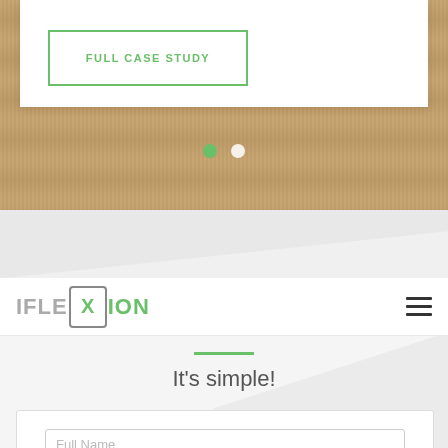[Figure (screenshot): Wood texture background with white card overlay containing a green-bordered button labeled FULL CASE STUDY, and two carousel navigation dots (green and white)]
FULL CASE STUDY
[Figure (logo): IFLEXION logo: IFLE in gray, X in a rounded rectangle box, ION in green]
It's simple!
Full Name